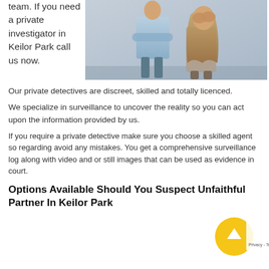team. If you need a private investigator in Keilor Park call us now.
[Figure (photo): Photo of a couple in conflict: a man with arms crossed standing in background, a woman in foreground covering her face with her hands in distress.]
Our private detectives are discreet, skilled and totally licenced.
We specialize in surveillance to uncover the reality so you can act upon the information provided by us.
If you require a private detective make sure you choose a skilled agent so regarding avoid any mistakes. You get a comprehensive surveillance log along with video and or still images that can be used as evidence in court.
Options Available Should You Suspect Unfaithful Partner In Keilor Park